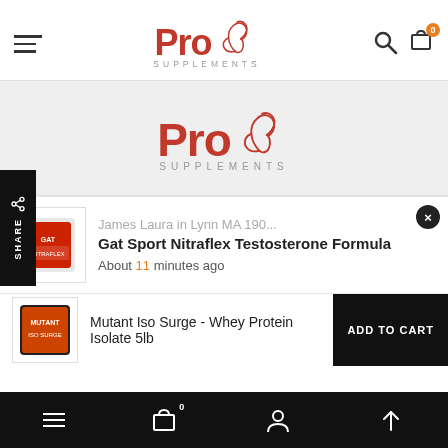[Figure (screenshot): Pro Supplements website screenshot showing header navigation with hamburger menu, Pro Supplements logo with flexing arm, search and cart icons. Below is a share sidebar, a banner with repeated logo, a product notification popup for 'Gat Sport Nitraflex Testosterone Formula', an 'Add to Cart' bar for 'Mutant Iso Surge - Whey Protein Isolate 5lb', and a bottom navigation bar.]
Pro Supplements
James Laura in Lynn MA 190...
Gat Sport Nitraflex Testosterone Formula
About 11 minutes ago
Mutant Iso Surge - Whey Protein Isolate 5lb
ADD TO CART